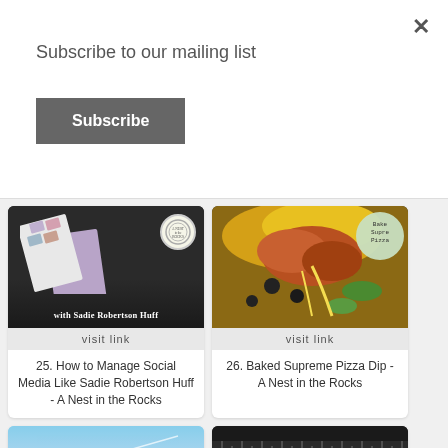×
Subscribe to our mailing list
Subscribe
[Figure (screenshot): Thumbnail image for blog post 25 - dark background with booklets/pamphlets and a wreath badge, text 'with Sadie Robertson Huff' at bottom]
visit link
25. How to Manage Social Media Like Sadie Robertson Huff - A Nest in the Rocks
[Figure (photo): Thumbnail image for blog post 26 - food photo of Baked Supreme Pizza Dip with badge saying 'Baked Supreme Pizza']
visit link
26. Baked Supreme Pizza Dip - A Nest in the Rocks
[Figure (photo): Partial thumbnail - blue sky with clouds]
[Figure (photo): Partial thumbnail - dark ruler/measurement tool]